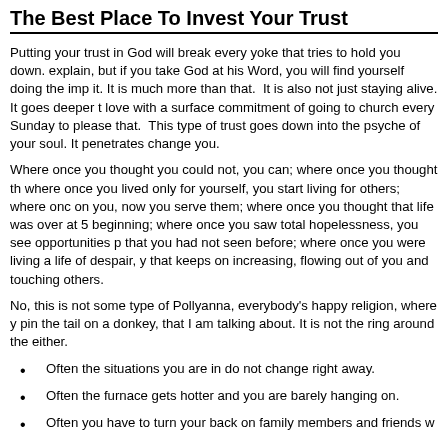The Best Place To Invest Your Trust
Putting your trust in God will break every yoke that tries to hold you down. explain, but if you take God at his Word, you will find yourself doing the imp it. It is much more than that. It is also not just staying alive. It goes deeper t love with a surface commitment of going to church every Sunday to please that. This type of trust goes down into the psyche of your soul. It penetrates change you.
Where once you thought you could not, you can; where once you thought th where once you lived only for yourself, you start living for others; where onc on you, now you serve them; where once you thought that life was over at 5 beginning; where once you saw total hopelessness, you see opportunities p that you had not seen before; where once you were living a life of despair, y that keeps on increasing, flowing out of you and touching others.
No, this is not some type of Pollyanna, everybody's happy religion, where y pin the tail on a donkey, that I am talking about. It is not the ring around the either.
Often the situations you are in do not change right away.
Often the furnace gets hotter and you are barely hanging on.
Often you have to turn your back on family members and friends w